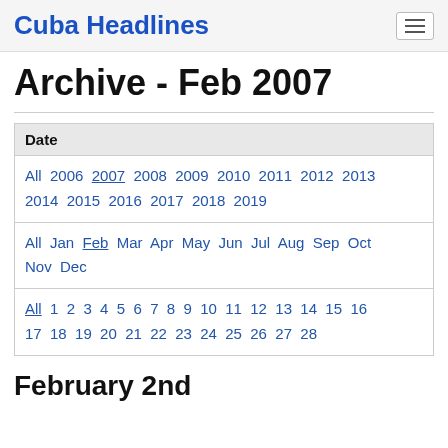Cuba Headlines
Archive - Feb 2007
| Date |
| --- |
| All 2006 2007 2008 2009 2010 2011 2012 2013 2014 2015 2016 2017 2018 2019 |
| All Jan Feb Mar Apr May Jun Jul Aug Sep Oct Nov Dec |
| All 1 2 3 4 5 6 7 8 9 10 11 12 13 14 15 16 17 18 19 20 21 22 23 24 25 26 27 28 |
February 2nd